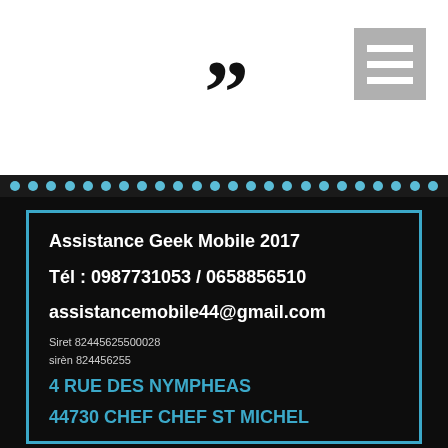[Figure (illustration): Large closing double quotation marks in bold black on white background]
[Figure (illustration): Hamburger menu icon: gray square with three white horizontal lines]
[Figure (illustration): Decorative dotted border row of light blue dots on dark background]
Assistance Geek Mobile 2017
Tél : 0987731053 / 0658856510
assistancemobile44@gmail.com
Siret 82445625500028
sirèn 824456255
4 RUE DES NYMPHEAS
44730 CHEF CHEF ST MICHEL